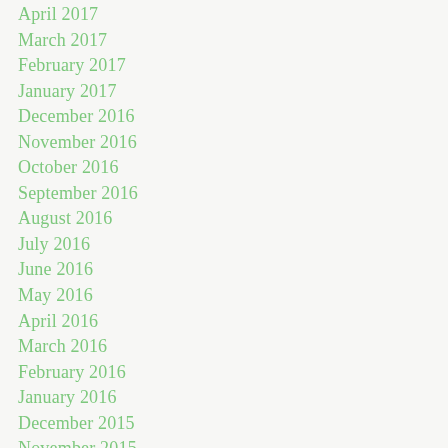April 2017
March 2017
February 2017
January 2017
December 2016
November 2016
October 2016
September 2016
August 2016
July 2016
June 2016
May 2016
April 2016
March 2016
February 2016
January 2016
December 2015
November 2015
Categories
All